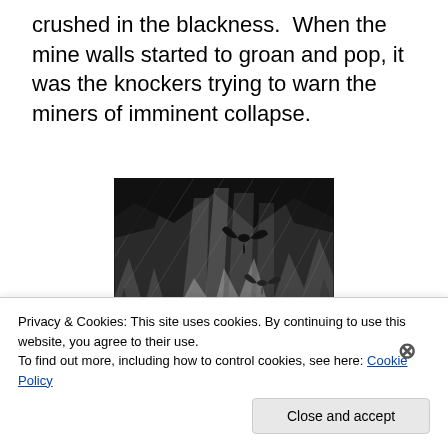crushed in the blackness.  When the mine walls started to groan and pop, it was the knockers trying to warn the miners of imminent collapse.
[Figure (illustration): Black and white engraving-style illustration showing two bat-like creatures flying in a cave with dramatic rock formations and light rays. At the bottom, two small human figures (miners) are visible among the rocks.]
Privacy & Cookies: This site uses cookies. By continuing to use this website, you agree to their use.
To find out more, including how to control cookies, see here: Cookie Policy